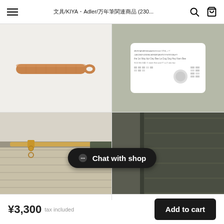文具/KIYA・Adler/万年筆関連商品 (230...
[Figure (photo): Brown tan leather pen sleeve/case with a loop handle, displayed on white background. Brand logo '590&Co.' with Japanese text above it.]
【QUI】ラムスキンペンケース（長財布型）
¥3,300
[Figure (photo): Olive/sage green background with a white rounded-rectangle card bearing alphabet letters, numbers and symbols in various typefaces. Brand logo '590&Co.' with Japanese text above it.]
【LUDDITE/ラッダイト】THIS INDUS...
¥1,540
[Figure (photo): Canvas beige/khaki pencil pouch with gold zipper, partially shown, bottom-left quadrant.]
[Figure (photo): Dark olive/charcoal leather zipper case partially shown, bottom-right quadrant.]
Chat with shop
¥3,300 tax included   Add to cart